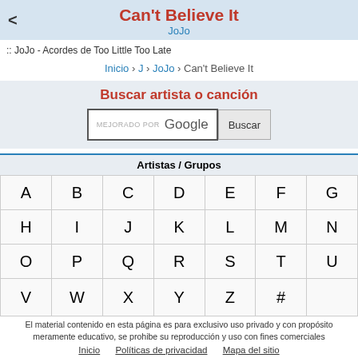Can't Believe It
JoJo
:: JoJo - Acordes de Too Little Too Late
Inicio › J › JoJo › Can't Believe It
Buscar artista o canción
[Figure (screenshot): Search box with 'MEJORADO POR Google' placeholder and a 'Buscar' button]
Artistas / Grupos
| A | B | C | D | E | F | G |
| H | I | J | K | L | M | N |
| O | P | Q | R | S | T | U |
| V | W | X | Y | Z | # |  |
El material contenido en esta página es para exclusivo uso privado y con propósito meramente educativo, se prohibe su reproducción y uso con fines comerciales
Inicio   Políticas de privacidad   Mapa del sitio